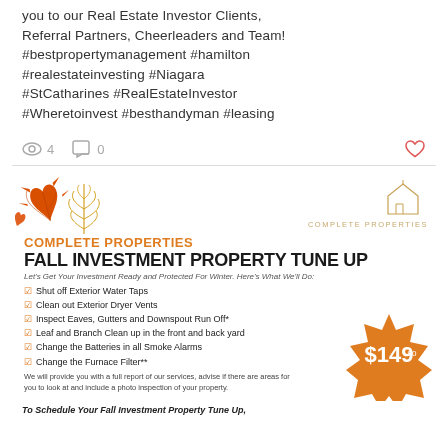you to our Real Estate Investor Clients, Referral Partners, Cheerleaders and Team! #bestpropertymanagement #hamilton #realestateinvesting #Niagara #StCatharines #RealEstateInvestor #Wheretoinvest #besthandyman #leasing
4  0
[Figure (infographic): Complete Properties Fall Investment Property Tune Up advertisement with autumn leaves, logo, checklist of services, and $149 price badge]
To Schedule Your Fall Investment Property Tune Up,